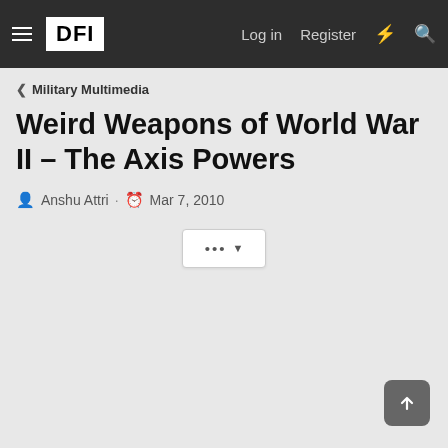DFI | Log in | Register
< Military Multimedia
Weird Weapons of World War II – The Axis Powers
Anshu Attri · Mar 7, 2010